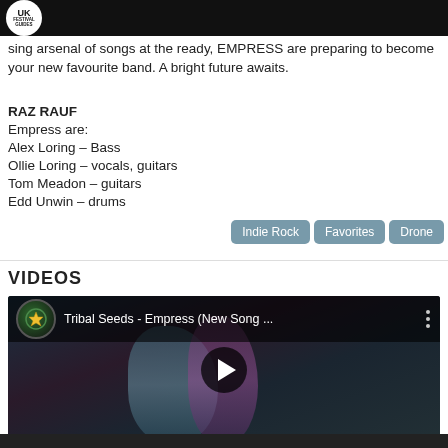UK FESTIVAL GUIDES
...sing arsenal of songs at the ready, EMPRESS are preparing to become your new favourite band. A bright future awaits.
RAZ RAUF
Empress are:
Alex Loring – Bass
Ollie Loring – vocals, guitars
Tom Meadon – guitars
Edd Unwin – drums
Indie Rock  Favorites  Drone
VIDEOS
[Figure (screenshot): YouTube video thumbnail for 'Tribal Seeds - Empress (New Song ...)' showing a woman with blue/purple hair against a dark background, with a channel icon and play button overlay.]